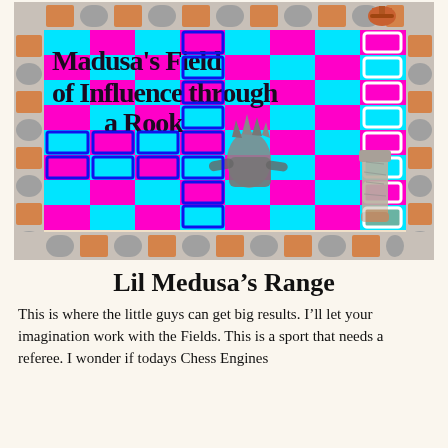[Figure (illustration): A chess board with alternating cyan and magenta squares, surrounded by an orange and gray checkered border. The board has a decorative chess piece (Medusa-like figure) in the lower-left area with blue square outlines indicating field of influence through a rook. A rook-like stone piece is visible on the right side. White square outlines appear in the rightmost column. The text 'Madusa's Field of Influence through a Rook' is overlaid in the upper-left of the board.]
Lil Medusa's Range
This is where the little guys can get big results. I'll let your imagination work with the Fields. This is a sport that needs a referee. I wonder if todays Chess Engines